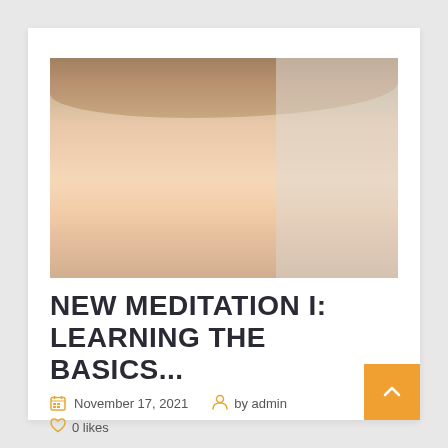[Figure (photo): Close-up selfie photo of a middle-aged man with brown/blonde hair, showing his forehead and one eye, taken at close range]
NEW MEDITATION I: LEARNING THE BASICS...
November 17, 2021   by admin
0  likes